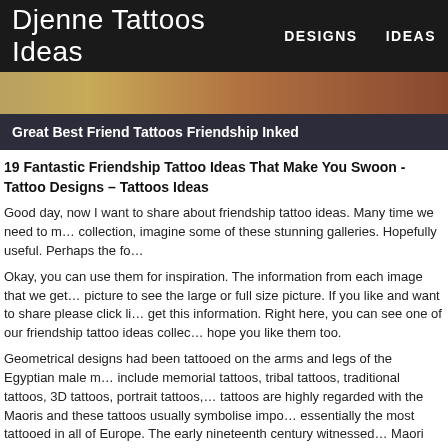Djenne Tattoos Ideas   DESIGNS   IDEAS
[Figure (photo): Decorative hero image strip with warm brown/orange tones]
Great Best Friend Tattoos Friendship Inked
19 Fantastic Friendship Tattoo Ideas That Make You Swoon - Tattoo Designs – Tattoos Ideas
Good day, now I want to share about friendship tattoo ideas. Many time we need to make a collection, imagine some of these stunning galleries. Hopefully useful. Perhaps the fo…
Okay, you can use them for inspiration. The information from each image that we get, click the picture to see the large or full size picture. If you like and want to share please click li… get this information. Right here, you can see one of our friendship tattoo ideas collec… hope you like them too.
Geometrical designs had been tattooed on the arms and legs of the Egyptian male m… include memorial tattoos, tribal tattoos, traditional tattoos, 3D tattoos, portrait tattoos,… tattoos are highly regarded with the Maoris and these tattoos usually symbolise impo… essentially the most tattooed in all of Europe. The early nineteenth century witnessed… Maori warriors. Luckily, this gory apply was banned in 1831 and with it ended the imp… considerable evidence pointing to the presence of the tattoo culture 1000s of years in… mummies and the Ice Man, Otzi. The tattoos found on the Egyptian and Nubian mum… protection throughout pregnancy, labor, and childbirth.